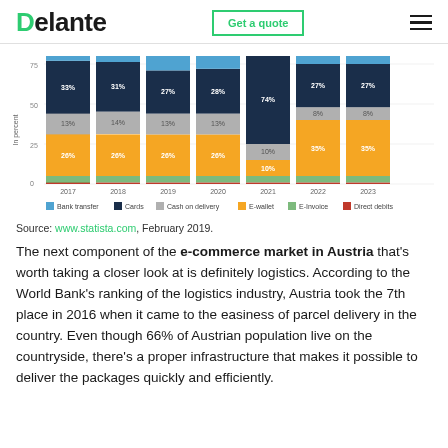Delante | Get a quote
[Figure (stacked-bar-chart): Payment methods in Austria e-commerce 2017-2023]
Source: www.statista.com, February 2019.
The next component of the e-commerce market in Austria that's worth taking a closer look at is definitely logistics. According to the World Bank's ranking of the logistics industry, Austria took the 7th place in 2016 when it came to the easiness of parcel delivery in the country. Even though 66% of Austrian population live on the countryside, there's a proper infrastructure that makes it possible to deliver the packages quickly and efficiently.